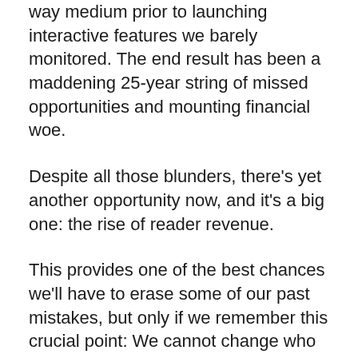way medium prior to launching interactive features we barely monitored. The end result has been a maddening 25-year string of missed opportunities and mounting financial woe.
Despite all those blunders, there's yet another opportunity now, and it's a big one: the rise of reader revenue.
This provides one of the best chances we'll have to erase some of our past mistakes, but only if we remember this crucial point: We cannot change who we get our money from without significantly changing the product we offer them. Otherwise, the reader revenue revolution will become yet another missed opportunity killed by half-measures.
The reader revenue opportunity unites the business and editorial sides around a common goal: serving the